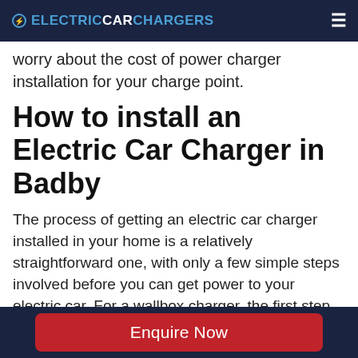ELECTRICCARCHARGERS
worry about the cost of power charger installation for your charge point.
How to install an Electric Car Charger in Badby
The process of getting an electric car charger installed in your home is a relatively straightforward one, with only a few simple steps involved before you can get power to your electric car. For a wallbox charger, the first step will be choosing the charger you need.
Enquire Now